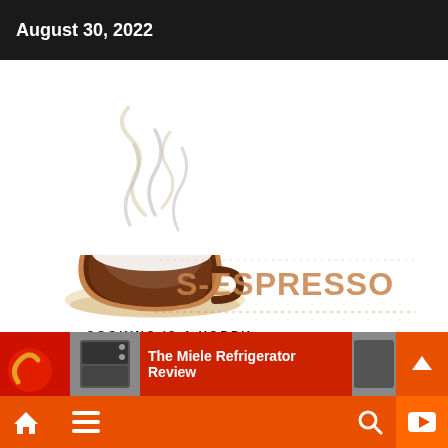August 30, 2022
[Figure (logo): S-Espresso blog logo: a coffee cup with steam, tagline 'cooking is a hobby', and stylized text 'S-ESPRESSO' in brown/orange]
The Miele Refrigerator Review
[Figure (infographic): Bottom navigation bar with home, menu, search, and YouTube icons on orange/red background]